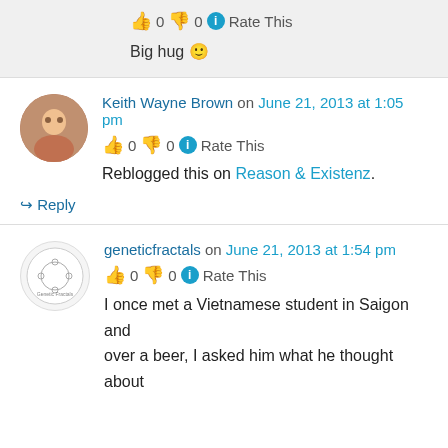👍 0 👎 0 ℹ Rate This
Big hug 🙂
Keith Wayne Brown on June 21, 2013 at 1:05 pm
👍 0 👎 0 ℹ Rate This
Reblogged this on Reason & Existenz.
↳ Reply
geneticfractals on June 21, 2013 at 1:54 pm
👍 0 👎 0 ℹ Rate This
I once met a Vietnamese student in Saigon and over a beer, I asked him what he thought about